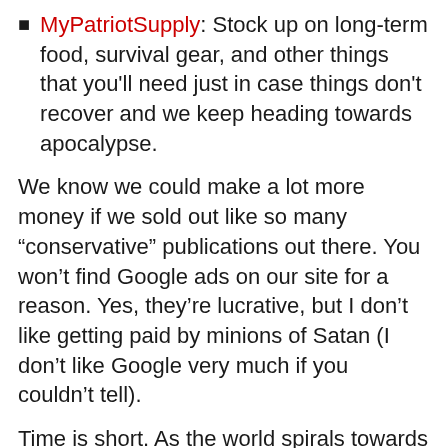MyPatriotSupply: Stock up on long-term food, survival gear, and other things that you'll need just in case things don't recover and we keep heading towards apocalypse.
We know we could make a lot more money if we sold out like so many “conservative” publications out there. You won’t find Google ads on our site for a reason. Yes, they’re lucrative, but I don’t like getting paid by minions of Satan (I don’t like Google very much if you couldn’t tell).
Time is short. As the world spirals towards The Great Reset, the need for truthful journalism has never been greater. But in these times, we need as many conservative media voices as possible. Please help keep NOQ Report and